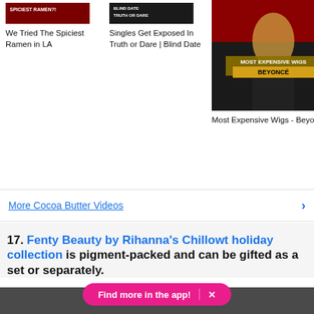[Figure (screenshot): Thumbnail for 'We Tried The Spiciest Ramen in LA' video with dark red background]
We Tried The Spiciest Ramen in LA
[Figure (screenshot): Thumbnail for 'Singles Get Exposed In Truth or Dare | Blind Date' video]
Singles Get Exposed In Truth or Dare | Blind Date
[Figure (screenshot): Thumbnail for 'Most Expensive Wigs - Beyonce' video showing woman with Beyonce wig text overlay]
Most Expensive Wigs - Beyonce
More Cocoa Butter Videos
17. Fenty Beauty by Rihanna's Chillowt holiday collection is pigment-packed and can be gifted as a set or separately.
Find more in the app! ×